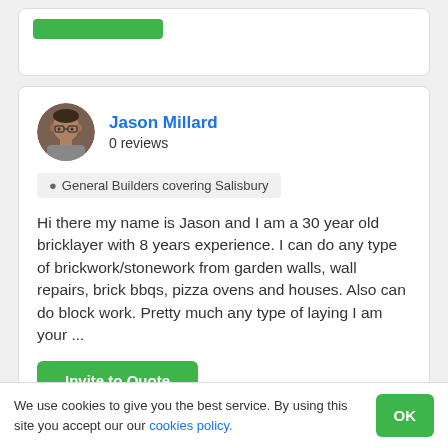[Figure (other): Top card with green button bar, partially visible]
Jason Millard
0 reviews
General Builders covering Salisbury
Hi there my name is Jason and I am a 30 year old bricklayer with 8 years experience. I can do any type of brickwork/stonework from garden walls, wall repairs, brick bbqs, pizza ovens and houses. Also can do block work. Pretty much any type of laying I am your ...
Invite to Quote
We use cookies to give you the best service. By using this site you accept our our cookies policy.